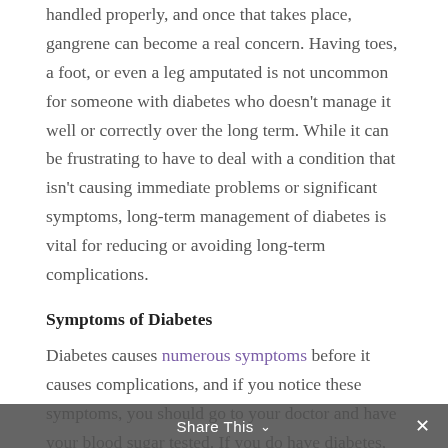handled properly, and once that takes place, gangrene can become a real concern. Having toes, a foot, or even a leg amputated is not uncommon for someone with diabetes who doesn't manage it well or correctly over the long term. While it can be frustrating to have to deal with a condition that isn't causing immediate problems or significant symptoms, long-term management of diabetes is vital for reducing or avoiding long-term complications.
Symptoms of Diabetes
Diabetes causes numerous symptoms before it causes complications, and if you notice these symptoms, you should go to your doctor and have your blood sugar tested. If you do have diabetes, you want to start treating and managing it as soon
Share This ∨  ✕